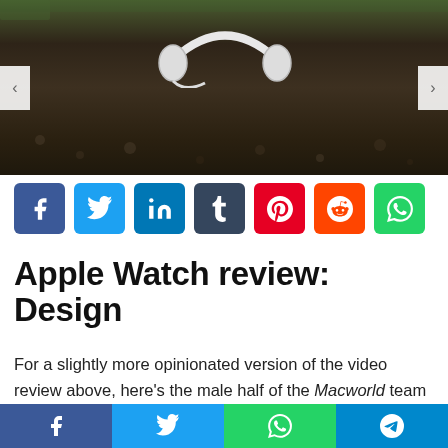[Figure (photo): Photo of white headphones lying on dark muddy ground with green grass visible at top, with left and right navigation arrows overlaid]
[Figure (infographic): Row of social media share buttons: Facebook (blue), Twitter (light blue), LinkedIn (dark blue), Tumblr (dark navy), Pinterest (red), Reddit (orange-red), WhatsApp (green)]
Apple Watch review: Design
For a slightly more opinionated version of the video review above, here’s the male half of the Macworld team arguing (after four months with this device) about whether the Apple
[Figure (infographic): Bottom sticky bar with four social share icons: Facebook (blue), Twitter (light blue), WhatsApp (green), Telegram (blue)]